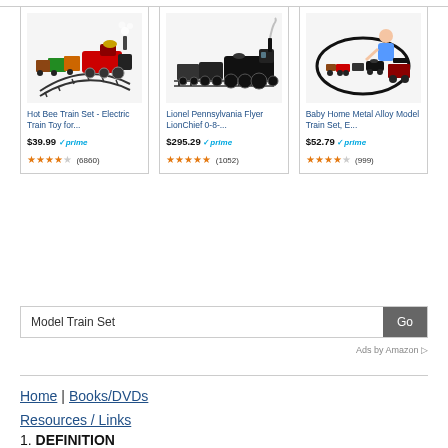[Figure (other): Hot Bee Train Set product image - red and black electric train on curved tracks]
Hot Bee Train Set - Electric Train Toy for...
$39.99 ✓prime ★★★★½ (6860)
[Figure (other): Lionel Pennsylvania Flyer LionChief 0-8-... product image - black steam locomotive]
Lionel Pennsylvania Flyer LionChief 0-8-...
$295.29 ✓prime ★★★★★ (1052)
[Figure (other): Baby Home Metal Alloy Model Train Set product image - child playing with train set]
Baby Home Metal Alloy Model Train Set, E...
$52.79 ✓prime ★★★★ (999)
Model Train Set   Go
Ads by Amazon ▷
Home | Books/DVDs
Resources / Links
1. DEFINITION